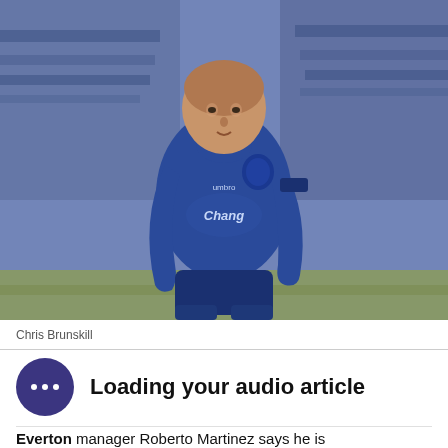[Figure (photo): A footballer wearing a blue Everton Chang-sponsored Umbro jersey running on a pitch, with blue-shirted crowd in the background]
Chris Brunskill
Loading your audio article
Everton manager Roberto Martinez says he is